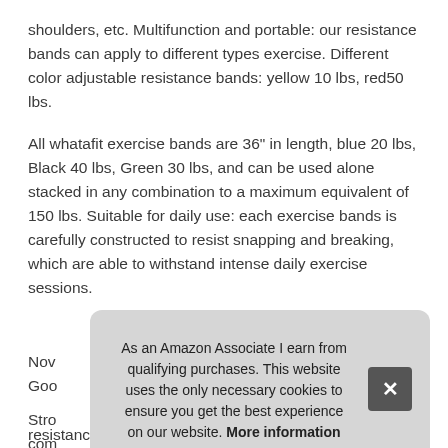shoulders, etc. Multifunction and portable: our resistance bands can apply to different types exercise. Different color adjustable resistance bands: yellow 10 lbs, red50 lbs.
All whatafit exercise bands are 36" in length, blue 20 lbs, Black 40 lbs, Green 30 lbs, and can be used alone stacked in any combination to a maximum equivalent of 150 lbs. Suitable for daily use: each exercise bands is carefully constructed to resist snapping and breaking, which are able to withstand intense daily exercise sessions.
More information #ad
Nov... Goo...
Stro... com... resistance band set includes five exercise bands, two
As an Amazon Associate I earn from qualifying purchases. This website uses the only necessary cookies to ensure you get the best experience on our website. More information